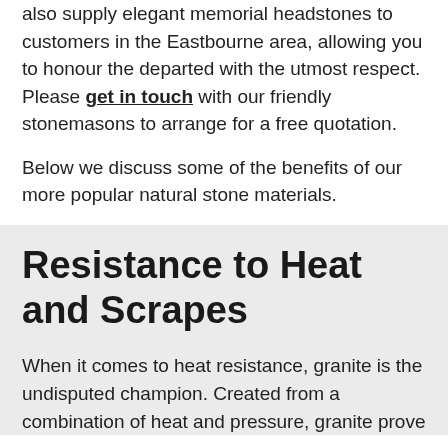also supply elegant memorial headstones to customers in the Eastbourne area, allowing you to honour the departed with the utmost respect. Please get in touch with our friendly stonemasons to arrange for a free quotation.
Below we discuss some of the benefits of our more popular natural stone materials.
Resistance to Heat and Scrapes
When it comes to heat resistance, granite is the undisputed champion. Created from a combination of heat and pressure, granite prove...